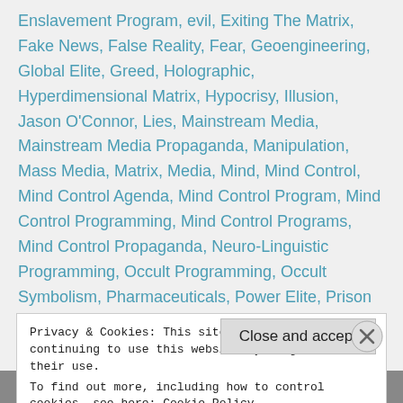Enslavement Program, evil, Exiting The Matrix, Fake News, False Reality, Fear, Geoengineering, Global Elite, Greed, Holographic, Hyperdimensional Matrix, Hypocrisy, Illusion, Jason O'Connor, Lies, Mainstream Media, Mainstream Media Propaganda, Manipulation, Mass Media, Matrix, Media, Mind, Mind Control, Mind Control Agenda, Mind Control Program, Mind Control Programming, Mind Control Programs, Mind Control Propaganda, Neuro-Linguistic Programming, Occult Programming, Occult Symbolism, Pharmaceuticals, Power Elite, Prison Planet, Propaganda, Raising Awareness, reality, Religion, Religions, Reprogramming The Subconscious Mind,
Privacy & Cookies: This site uses cookies. By continuing to use this website, you agree to their use.
To find out more, including how to control cookies, see here: Cookie Policy
Close and accept